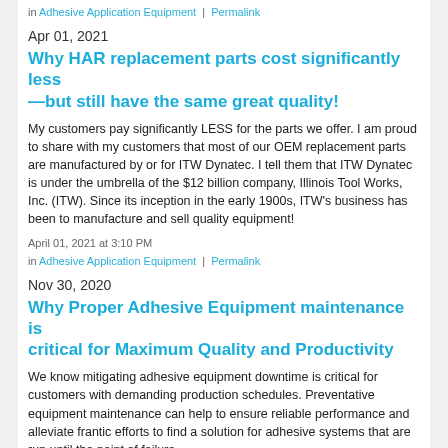in Adhesive Application Equipment | Permalink
Apr 01, 2021
Why HAR replacement parts cost significantly less—but still have the same great quality!
My customers pay significantly LESS for the parts we offer. I am proud to share with my customers that most of our OEM replacement parts are manufactured by or for ITW Dynatec. I tell them that ITW Dynatec is under the umbrella of the $12 billion company, Illinois Tool Works, Inc. (ITW). Since its inception in the early 1900s, ITW's business has been to manufacture and sell quality equipment!
April 01, 2021 at 3:10 PM
in Adhesive Application Equipment | Permalink
Nov 30, 2020
Why Proper Adhesive Equipment maintenance is critical for Maximum Quality and Productivity
We know mitigating adhesive equipment downtime is critical for customers with demanding production schedules. Preventative equipment maintenance can help to ensure reliable performance and alleviate frantic efforts to find a solution for adhesive systems that are run until the point of failure.